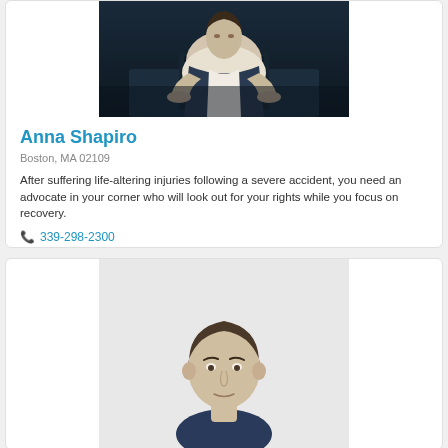[Figure (photo): Photo of Anna Shapiro, a lawyer sitting at a desk working]
Anna Shapiro
Boston, MA 02109
After suffering life-altering injuries following a severe accident, you need an advocate in your corner who will look out for your rights while you focus on recovery.
339-298-2300
View Anna Shapiro's Profile
[Figure (photo): Photo of a second lawyer, a man with short hair, partially visible]